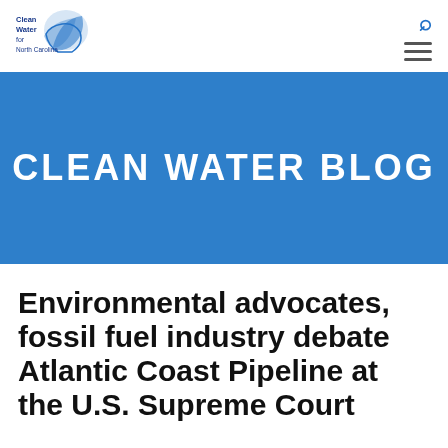Clean Water for North Carolina
CLEAN WATER BLOG
Environmental advocates, fossil fuel industry debate Atlantic Coast Pipeline at the U.S. Supreme Court